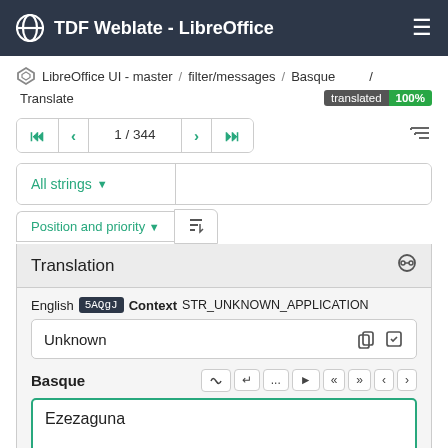TDF Weblate - LibreOffice
LibreOffice UI - master / filter/messages / Basque / Translate translated 100%
1 / 344
All strings
Position and priority
Translation
English 5AQgJ Context STR_UNKNOWN_APPLICATION
Unknown
Basque
Ezezaguna